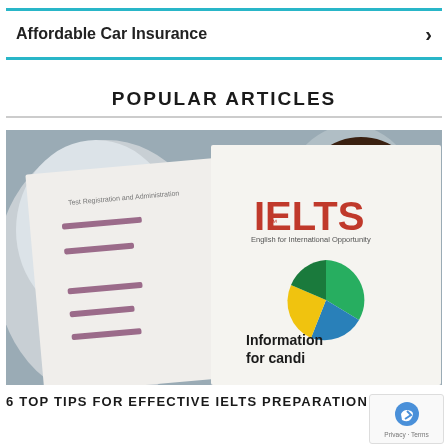Affordable Car Insurance  >
POPULAR ARTICLES
[Figure (photo): Two people (man and woman) holding up IELTS brochure/booklet. The booklet shows 'IELTS - English for International Opportunity' logo in red text, a colorful pie/circle graphic in green, blue, yellow, and the text 'Information for candi[dates]'.]
6 TOP TIPS FOR EFFECTIVE IELTS PREPARATION